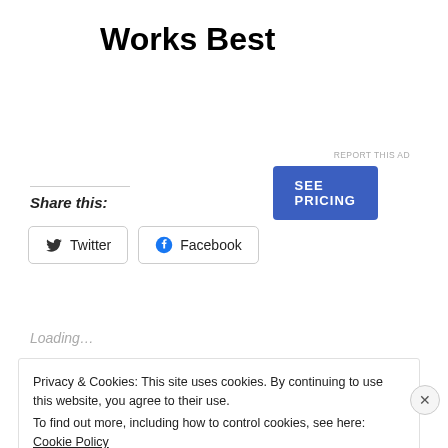Works Best
[Figure (other): SEE PRICING button (blue rounded rectangle)]
REPORT THIS AD
Share this:
[Figure (other): Twitter and Facebook social share buttons]
Loading...
Privacy & Cookies: This site uses cookies. By continuing to use this website, you agree to their use.
To find out more, including how to control cookies, see here: Cookie Policy
Close and accept